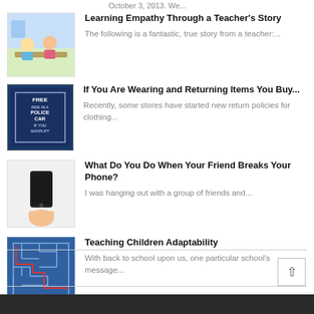October 3, 2013. We...
Learning Empathy Through a Teacher's Story — The following is a fantastic, true story from a teacher:....
If You Are Wearing and Returning Items You Buy... — Recently, some stores have started new return policies for clothing...
What Do You Do When Your Friend Breaks Your Phone? — I was hanging out with a group of friends and...
Teaching Children Adaptability — With back to school upon us, one particular school's message...